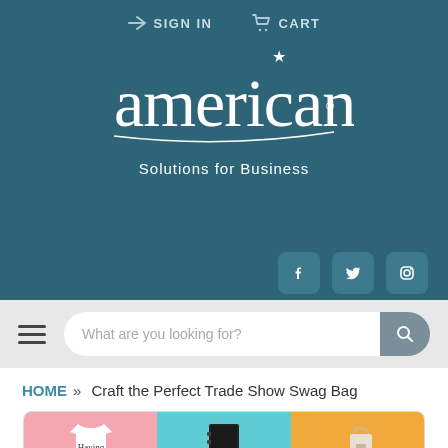SIGN IN   CART
[Figure (logo): American Solutions for Business cursive logo with star and subtitle on teal background]
[Figure (infographic): Social media icons: Facebook, Twitter, Instagram]
What are you looking for?
HOME » Craft the Perfect Trade Show Swag Bag
[Figure (photo): Collage of trade show swag items: branded t-shirt on pink background, notebook on teal background, bag on yellow background]